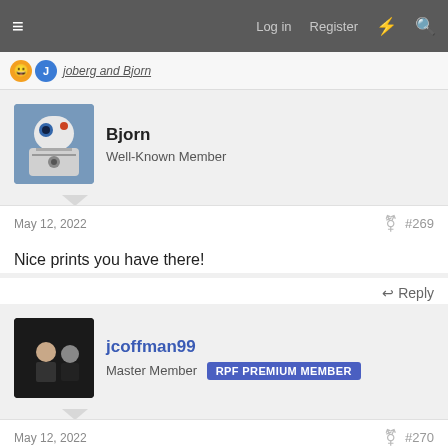Log in  Register
joberg and Bjorn
Bjorn
Well-Known Member
May 12, 2022  #269
Nice prints you have there!
Reply
jcoffman99
Master Member  RPF PREMIUM MEMBER
May 12, 2022  #270
Studio Kitbash said:
Got a favorite gun turret window?